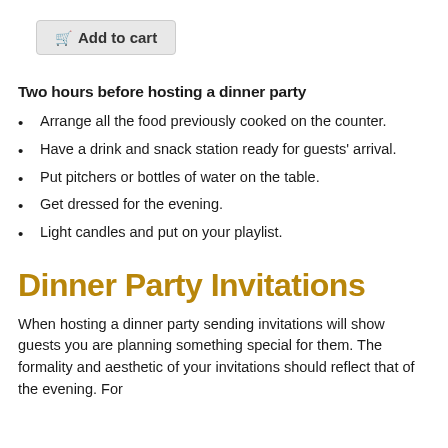[Figure (other): Add to cart button with shopping cart icon]
Two hours before hosting a dinner party
Arrange all the food previously cooked on the counter.
Have a drink and snack station ready for guests' arrival.
Put pitchers or bottles of water on the table.
Get dressed for the evening.
Light candles and put on your playlist.
Dinner Party Invitations
When hosting a dinner party sending invitations will show guests you are planning something special for them. The formality and aesthetic of your invitations should reflect that of the evening. For